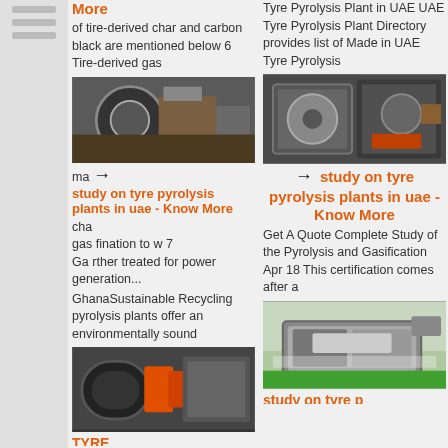study on tyre pyrolysis plants in uae - Know More
of tire-derived char and carbon black are mentioned below 6 Tire-derived gas
[Figure (photo): Industrial machinery close-up, wheels and metal parts]
made of gas The charcoal is processed gas is further treated for power generation...
GhanaSustainable Recycling pyrolysis plants offer an environmentally sound
[Figure (photo): Orange and black industrial machine motor]
Tyre Pyrolysis Plant in UAE UAE Tyre Pyrolysis Plant Directory provides list of Made in UAE Tyre Pyrolysis
[Figure (photo): Close-up of mechanical/robotic industrial equipment]
study on tyre pyrolysis plants in uae - Know More
Get A Quote Complete Study of the Pyrolysis and Gasification Apr 18 This certification comes after a
[Figure (photo): Industrial facility interior with large vehicle/truck]
TYRE
study on tyre p